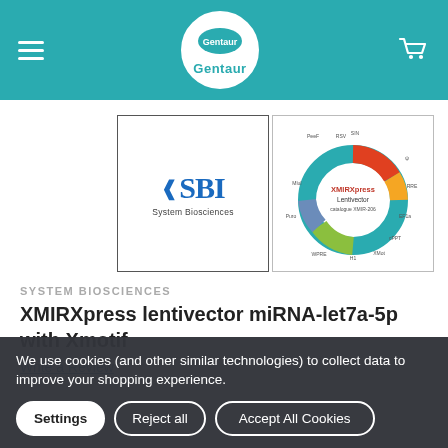Gentaur - header navigation bar
[Figure (logo): SBI System Biosciences logo in a bordered square box]
[Figure (schematic): XMIRXpress Lentivector plasmid map diagram with circular vector illustration]
SYSTEM BIOSCIENCES
XMIRXpress lentivector miRNA-let7a-5p with Xmotif
Write a Review
We use cookies (and other similar technologies) to collect data to improve your shopping experience.